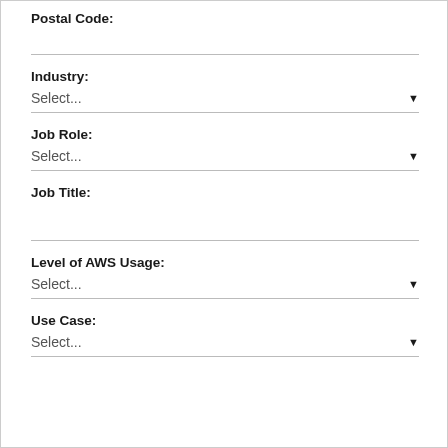Postal Code:
Industry:
Select...
Job Role:
Select...
Job Title:
Level of AWS Usage:
Select...
Use Case:
Select...